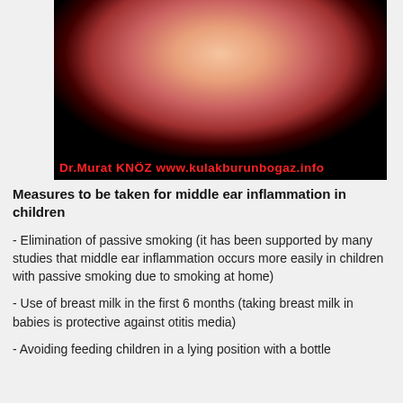[Figure (photo): Close-up medical endoscopic image of a middle ear or throat area, showing pink/red tissue, with a watermark text overlay reading 'Dr.Murat KNÖZ www.kulakburunbogaz.info' in red bold font on a dark background bar at the bottom of the image.]
Measures to be taken for middle ear inflammation in children
- Elimination of passive smoking (it has been supported by many studies that middle ear inflammation occurs more easily in children with passive smoking due to smoking at home)
- Use of breast milk in the first 6 months (taking breast milk in babies is protective against otitis media)
- Avoiding feeding children in a lying position with a bottle